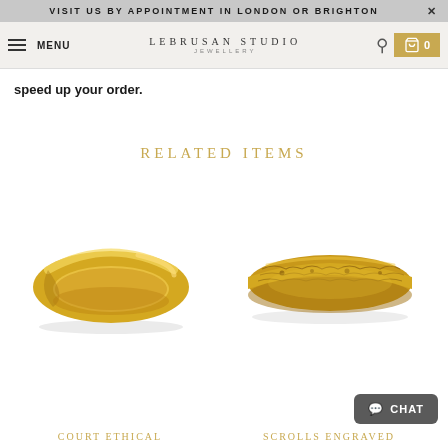VISIT US BY APPOINTMENT IN LONDON OR BRIGHTON
LEBRUSAN STUDIO JEWELLERY — MENU — Search — Cart 0
speed up your order.
RELATED ITEMS
[Figure (photo): Gold court wedding band ring, smooth polished yellow gold, rounded profile]
COURT ETHICAL
[Figure (photo): Gold scrolls engraved wedding band ring, textured surface with floral/scroll engravings in yellow gold]
SCROLLS ENGRAVED